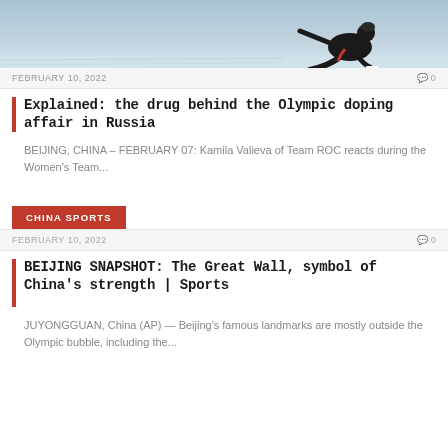[Figure (photo): Ice skater (figure skater in black outfit with red details) crouching on ice with blurred icy background]
FEBRUARY 10, 2022   💬 0
Explained: the drug behind the Olympic doping affair in Russia
BEIJING, CHINA – FEBRUARY 07: Kamila Valieva of Team ROC reacts during the Women's Team...
CHINA SPORTS
FEBRUARY 10, 2022   💬 0
BEIJING SNAPSHOT: The Great Wall, symbol of China's strength | Sports
JUYONGGUAN, China (AP) — Beijing's famous landmarks are mostly outside the Olympic bubble, including the...